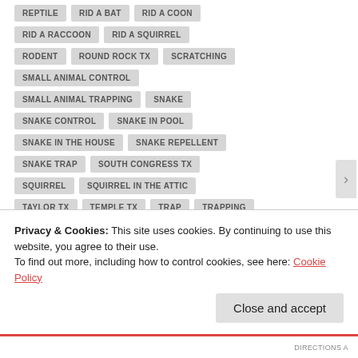REPTILE
RID A BAT
RID A COON
RID A RACCOON
RID A SQUIRREL
RODENT
ROUND ROCK TX
SCRATCHING
SMALL ANIMAL CONTROL
SMALL ANIMAL TRAPPING
SNAKE
SNAKE CONTROL
SNAKE IN POOL
SNAKE IN THE HOUSE
SNAKE REPELLENT
SNAKE TRAP
SOUTH CONGRESS TX
SQUIRREL
SQUIRREL IN THE ATTIC
TAYLOR TX
TEMPLE TX
TRAP
TRAPPING
Privacy & Cookies: This site uses cookies. By continuing to use this website, you agree to their use.
To find out more, including how to control cookies, see here: Cookie Policy
Close and accept